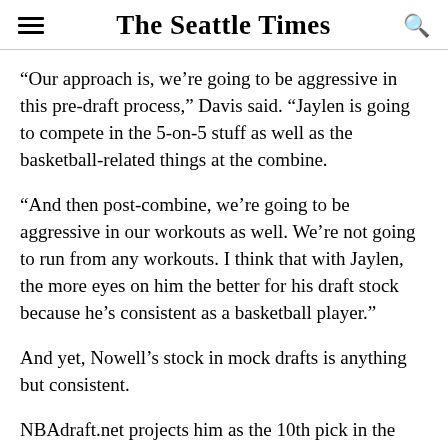The Seattle Times
“Our approach is, we’re going to be aggressive in this pre-draft process,” Davis said. “Jaylen is going to compete in the 5-on-5 stuff as well as the basketball-related things at the combine.
“And then post-combine, we’re going to be aggressive in our workouts as well. We’re not going to run from any workouts. I think that with Jaylen, the more eyes on him the better for his draft stock because he’s consistent as a basketball player.”
And yet, Nowell’s stock in mock drafts is anything but consistent.
NBAdraft.net projects him as the 10th pick in the